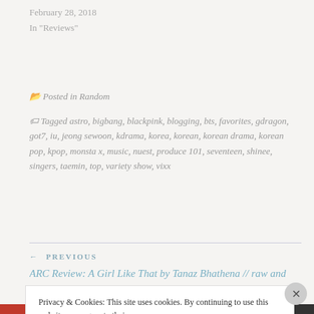February 28, 2018
In "Reviews"
Posted in Random
Tagged astro, bigbang, blackpink, blogging, bts, favorites, gdragon, got7, iu, jeong sewoon, kdrama, korea, korean, korean drama, korean pop, kpop, monsta x, music, nuest, produce 101, seventeen, shinee, singers, taemin, top, variety show, vixx
← PREVIOUS
ARC Review: A Girl Like That by Tanaz Bhathena // raw and
Privacy & Cookies: This site uses cookies. By continuing to use this website, you agree to their use.
To find out more, including how to control cookies, see here: Cookie Policy
Close and accept